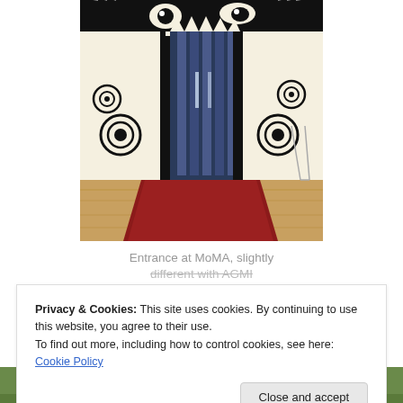[Figure (photo): Photograph of a large decorative installation at MoMA resembling a stylized monster/creature face used as an entrance gateway. The piece has black and white swirling patterns, sharp teeth at the top, and opens to reveal a red-carpeted corridor with blue vertical panels.]
Entrance at MoMA, slightly different with AGMI
Privacy & Cookies: This site uses cookies. By continuing to use this website, you agree to their use.
To find out more, including how to control cookies, see here: Cookie Policy
[Figure (photo): Partial view of another photograph at the bottom of the page, showing a green surface (possibly a sports field or outdoor area) with minimal detail visible.]